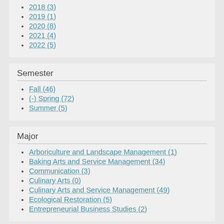2018 (3)
2019 (1)
2020 (8)
2021 (4)
2022 (5)
Semester
Fall (46)
(-) Spring (72)
Summer (5)
Major
Arboriculture and Landscape Management (1)
Baking Arts and Service Management (34)
Communication (3)
Culinary Arts (0)
Culinary Arts and Service Management (49)
Ecological Restoration (5)
Entrepreneurial Business Studies (2)